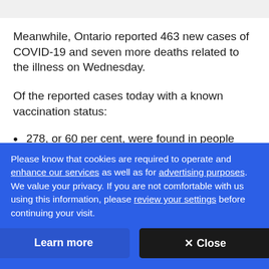Meanwhile, Ontario reported 463 new cases of COVID-19 and seven more deaths related to the illness on Wednesday.
Of the reported cases today with a known vaccination status:
278, or 60 per cent, were found in people who are unvaccinated
Please know that cookies are required to operate and enhance our services as well as for advertising purposes. We value your privacy. If you are not comfortable with us using this information, please review your settings before continuing your visit.